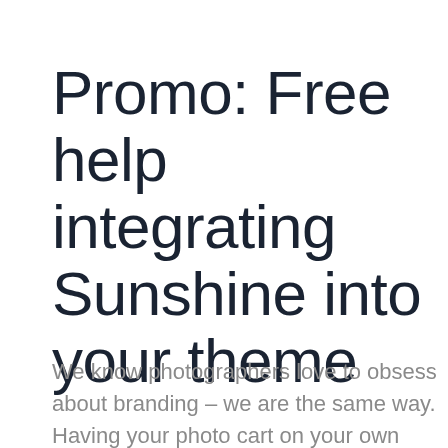Promo: Free help integrating Sunshine into your theme
We know photographers love to obsess about branding – we are the same way. Having your photo cart on your own website is one way to maintain a cohesive brand and experience for your users. It's one of the main reasons we built Sunshine Photo Cart